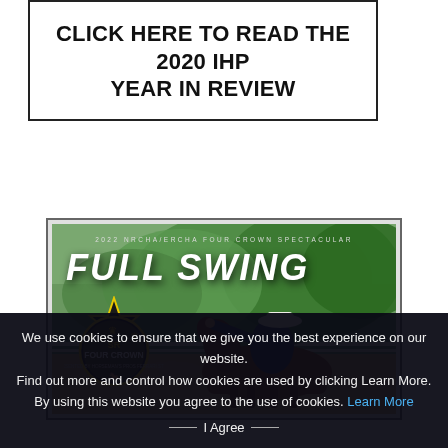CLICK HERE TO READ THE 2020 IHP YEAR IN REVIEW
[Figure (photo): Promotional image for 2022 NRCHA/ERCHA Four Crown Spectacular with text 'FULL SWING' and a rider on horseback, overlaid with the SR Four Crown badge/logo]
We use cookies to ensure that we give you the best experience on our website.
Find out more and control how cookies are used by clicking Learn More.
By using this website you agree to the use of cookies. Learn More
— I Agree —